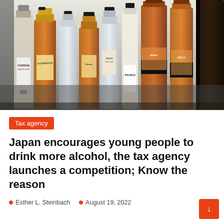[Figure (photo): Multiple liquor bottles of various shapes, sizes and brands arranged in a row against a light background. Visible labels include Contessa White Rum, Palmchill, and Kelly. Bottles contain amber, clear, and dark spirits.]
Tax agency
Japan encourages young people to drink more alcohol, the tax agency launches a competition; Know the reason
Esther L. Steinbach   August 19, 2022